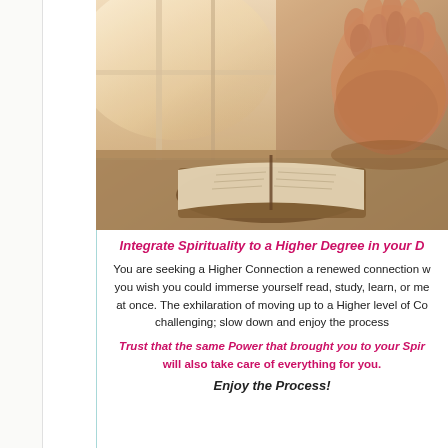[Figure (photo): Hands clasped in prayer resting on an open Bible near a window, warm light, wooden surface]
Integrate Spirituality to a Higher Degree in your D
You are seeking a Higher Connection a renewed connection w... you wish you could immerse yourself read, study, learn, or me... at once. The exhilaration of moving up to a Higher level of Co... challenging; slow down and enjoy the process...
Trust that the same Power that brought you to your Spir...
will also take care of everything for you.
Enjoy the Process!